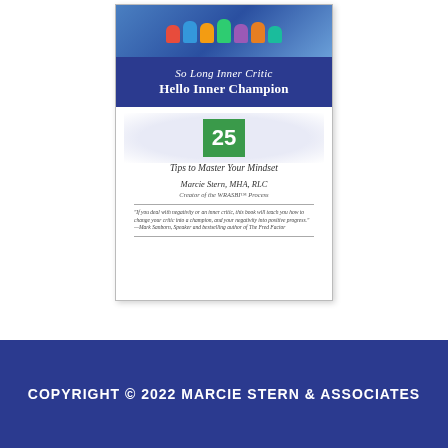[Figure (illustration): Book cover for 'So Long Inner Critic Hello Inner Champion: 25 Tips to Master Your Mindset' by Marcie Stern, MHA, RLC. The cover features a dark blue banner at the top with colorful hands illustration, the title in white text, a green box with the number 25, subtitle text, author name, and a blurb quote from Mark Sanborn.]
COPYRIGHT © 2022 MARCIE STERN & ASSOCIATES